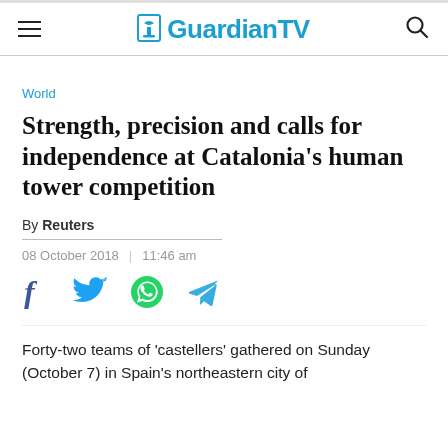Guardian TV
World
Strength, precision and calls for independence at Catalonia's human tower competition
By Reuters
08 October 2018  |  11:46 am
[Figure (infographic): Social share icons: Facebook, Twitter, WhatsApp, Telegram]
Forty-two teams of 'castellers' gathered on Sunday (October 7) in Spain's northeastern city of